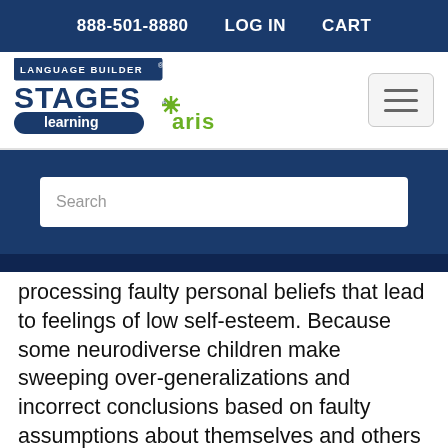888-501-8880   LOG IN   CART
[Figure (logo): Language Builder Stages Learning and Aris logos]
Search
processing faulty personal beliefs that lead to feelings of low self-esteem. Because some neurodiverse children make sweeping over-generalizations and incorrect conclusions based on faulty assumptions about themselves and others, TCB strategies help learners to